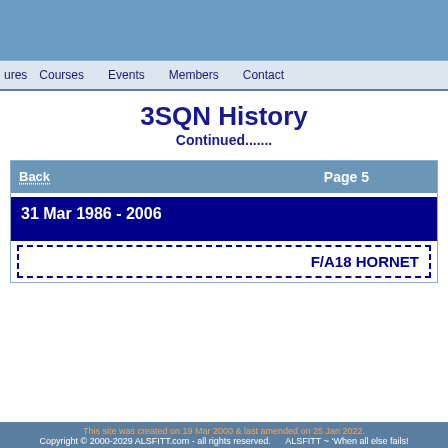3SQN History
Continued.......
Back   Page 5
31 Mar 1986 - 2006
F/A18 HORNET
This site was created on 19 Mar 2000 & last amended on 25 Jan 2022. Copyright © 2000-2029 ALSFITT.com - all rights reserved.   ALSFITT ~ 'When all else fails!'